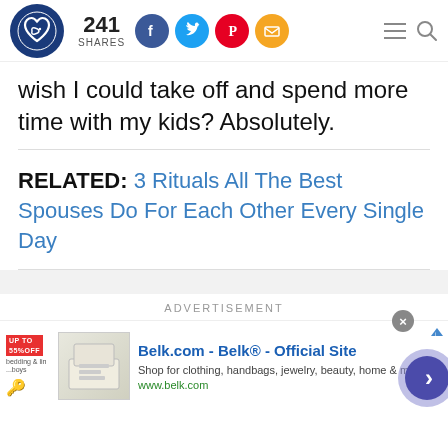YourTango logo | 241 SHARES | Social share icons (Facebook, Twitter, Pinterest, Email) | Hamburger menu | Search
wish I could take off and spend more time with my kids? Absolutely.
RELATED: 3 Rituals All The Best Spouses Do For Each Other Every Single Day
ADVERTISEMENT
[Figure (screenshot): Belk.com advertisement banner: 'Belk.com - Belk® - Official Site. Shop for clothing, handbags, jewelry, beauty, home & more! www.belk.com' with thumbnail image, close button, AdChoices icon, and navigation chevron button.]